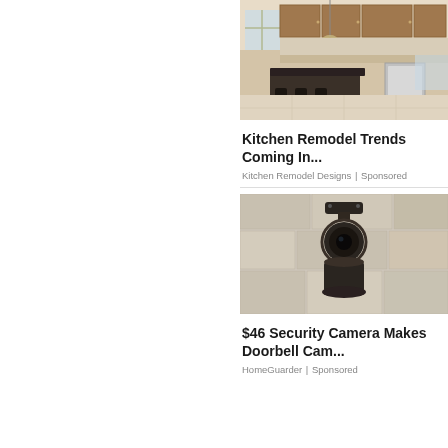[Figure (photo): Kitchen interior with brown wooden cabinets, dark granite island countertop, bar stools, stainless steel appliances, and light tile flooring]
Kitchen Remodel Trends Coming In...
Kitchen Remodel Designs | Sponsored
[Figure (photo): Outdoor security camera mounted on a stone wall, black cylindrical camera with circular base]
$46 Security Camera Makes Doorbell Cam...
HomeGuarder | Sponsored